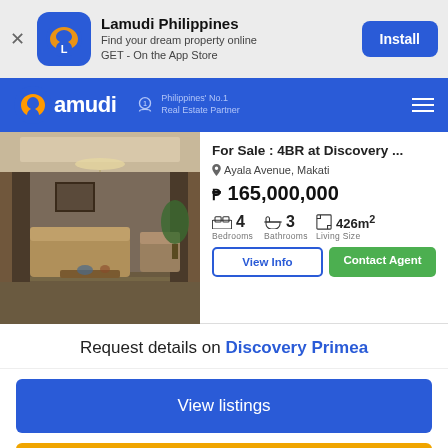[Figure (screenshot): App install banner for Lamudi Philippines with app icon, description text, and Install button]
[Figure (screenshot): Lamudi navigation bar with logo and Philippines No.1 Real Estate Partner badge]
[Figure (photo): Interior photo of a luxury condominium living/dining room with chandelier and elegant furnishings]
For Sale : 4BR at Discovery ...
Ayala Avenue, Makati
₱ 165,000,000
4 Bedrooms   3 Bathrooms   426m² Living Size
Request details on Discovery Primea
View listings
Contact agents